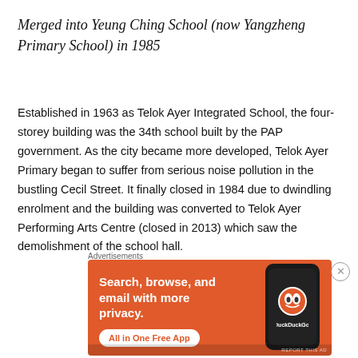Merged into Yeung Ching School (now Yangzheng Primary School) in 1985
Established in 1963 as Telok Ayer Integrated School, the four-storey building was the 34th school built by the PAP government. As the city became more developed, Telok Ayer Primary began to suffer from serious noise pollution in the bustling Cecil Street. It finally closed in 1984 due to dwindling enrolment and the building was converted to Telok Ayer Performing Arts Centre (closed in 2013) which saw the demolishment of the school hall.
[Figure (screenshot): DuckDuckGo advertisement banner with orange background. Left side shows bold white text 'Search, browse, and email with more privacy.' with a white pill-shaped button 'All in One Free App'. Right side shows a smartphone with DuckDuckGo logo (duck icon in orange circle). Bottom label reads 'DuckDuckGo.' Topped by small grey 'Advertisements' label.]